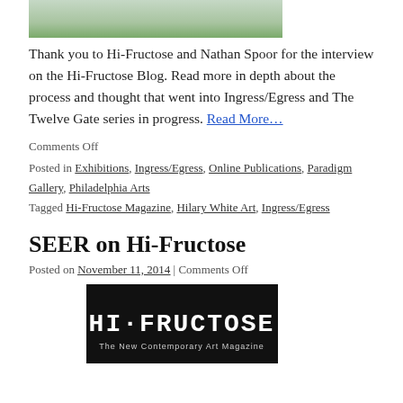[Figure (photo): Partial top image, appears to be a nature/plant photograph cropped at top of page]
Thank you to Hi-Fructose and Nathan Spoor for the interview on the Hi-Fructose Blog. Read more in depth about the process and thought that went into Ingress/Egress and The Twelve Gate series in progress. Read More…
Comments Off
Posted in Exhibitions, Ingress/Egress, Online Publications, Paradigm Gallery, Philadelphia Arts Tagged Hi-Fructose Magazine, Hilary White Art, Ingress/Egress
SEER on Hi-Fructose
Posted on November 11, 2014 | Comments Off
[Figure (logo): Hi-Fructose magazine logo — black background with white pixel-style text reading HI-FRUCTOSE and subtitle The New Contemporary Art Magazine]